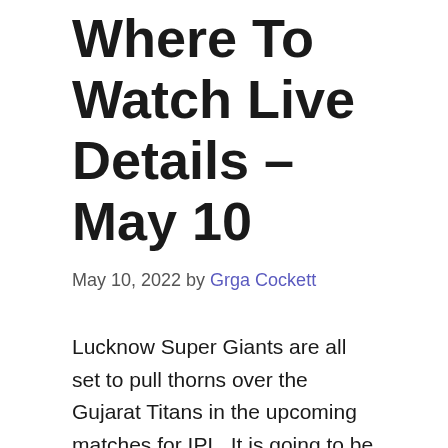Where To Watch Live Details – May 10
May 10, 2022 by Grga Cockett
Lucknow Super Giants are all set to pull thorns over the Gujarat Titans in the upcoming matches for IPL. It is going to be another fixture that is all set to roll out this May 2022.
The event kicks off on May 10, 2022, at 07:30 PM (IST) with the 57th fixture.